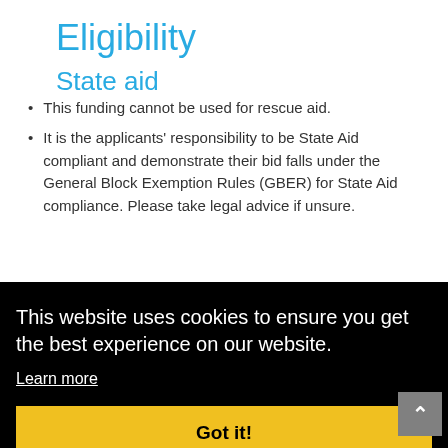Eligibility
State aid
This funding cannot be used for rescue aid.
It is the applicants' responsibility to be State Aid compliant and demonstrate their bid falls under the General Block Exemption Rules (GBER) for State Aid compliance. Please take legal advice if unsure.
This website uses cookies to ensure you get the best experience on our website.
Learn more
Got it!
must:
a
demic
n
carry out your maritime research or technology development project work in the UK